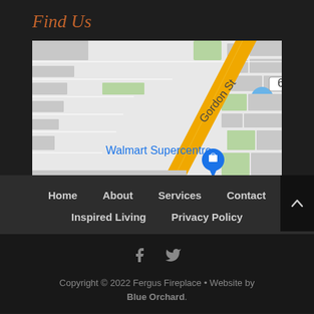Find Us
[Figure (map): Google Maps view showing area near Walmart Supercentre, with highway 6 (yellow/orange diagonal road), Gordon St label, and a blue location pin on Walmart Supercentre]
Home   About   Services   Contact   Inspired Living   Privacy Policy
Copyright © 2022 Fergus Fireplace • Website by Blue Orchard.